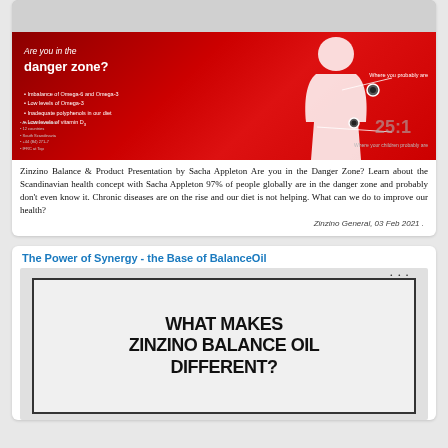[Figure (photo): Zinzino danger zone presentation slide showing red background with heart graphic and text 'Are you in the danger zone?']
Zinzino Balance & Product Presentation by Sacha Appleton Are you in the Danger Zone? Learn about the Scandinavian health concept with Sacha Appleton 97% of people globally are in the danger zone and probably don't even know it. Chronic diseases are on the rise and our diet is not helping. What can we do to improve our health?
Zinzino General, 03 Feb 2021 .
The Power of Synergy - the Base of BalanceOil
[Figure (photo): Image showing text 'WHAT MAKES ZINZINO BALANCE OIL DIFFERENT?' in bold black font on white/grey background with border]